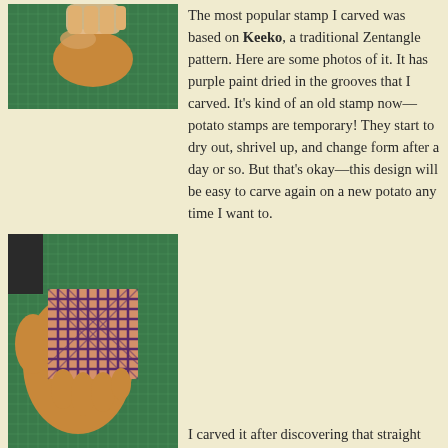[Figure (photo): Top-down view of hands holding a carved potato stamp on a green cutting mat background]
The most popular stamp I carved was based on Keeko, a traditional Zentangle pattern. Here are some photos of it. It has purple paint dried in the grooves that I carved. It's kind of an old stamp now—potato stamps are temporary! They start to dry out, shrivel up, and change form after a day or so. But that's okay—this design will be easy to carve again on a new potato any time I want to.
[Figure (photo): Hand holding a carved potato stamp showing a geometric woven Keeko Zentangle pattern printed in purple/dark ink, on a green cutting mat background]
I carved it after discovering that straight